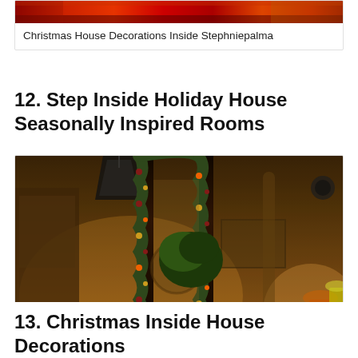[Figure (photo): Christmas house interior decoration photo strip - partial view at top]
Christmas House Decorations Inside Stephniepalma
12. Step Inside Holiday House Seasonally Inspired Rooms
[Figure (photo): Elegant holiday house interior with arched doorways decorated with garlands, a hanging lantern, warm lighting, candles, lush plants, ornate furniture and Christmas decorations]
Step Inside Holiday House Seasonally Inspired Rooms
13. Christmas Inside House Decorations